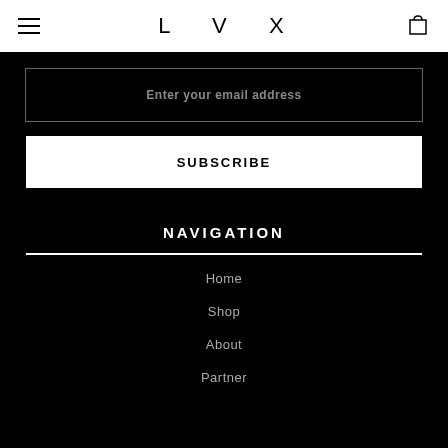LVX
Enter your email address
SUBSCRIBE
NAVIGATION
Home
Shop
About
Partner